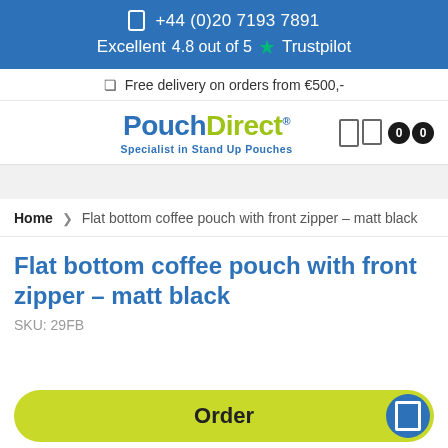+44 (0)20 7193 7891
Excellent 4.8 out of 5 Trustpilot
Free delivery on orders from €500,-
[Figure (logo): PouchDirect logo - blue 'Pouch' and yellow-green 'Direct' with tagline 'Specialist in Stand Up Pouches']
Home › Flat bottom coffee pouch with front zipper – matt black
Flat bottom coffee pouch with front zipper – matt black
SKU: 29FB